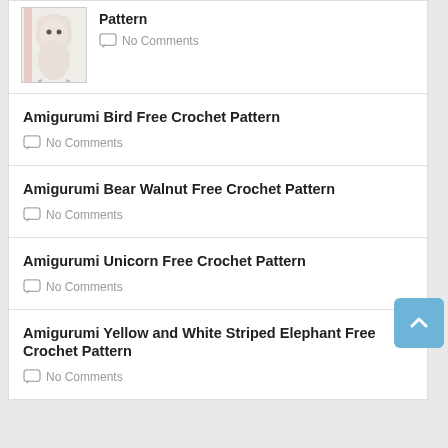Pattern
No Comments
Amigurumi Bird Free Crochet Pattern
No Comments
Amigurumi Bear Walnut Free Crochet Pattern
No Comments
Amigurumi Unicorn Free Crochet Pattern
No Comments
Amigurumi Yellow and White Striped Elephant Free Crochet Pattern
No Comments